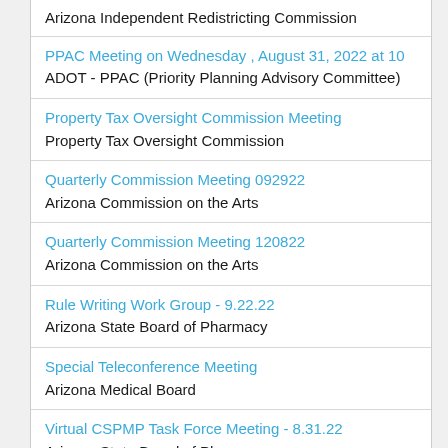Arizona Independent Redistricting Commission
PPAC Meeting on Wednesday , August 31, 2022 at 10
ADOT - PPAC (Priority Planning Advisory Committee)
Property Tax Oversight Commission Meeting
Property Tax Oversight Commission
Quarterly Commission Meeting 092922
Arizona Commission on the Arts
Quarterly Commission Meeting 120822
Arizona Commission on the Arts
Rule Writing Work Group - 9.22.22
Arizona State Board of Pharmacy
Special Teleconference Meeting
Arizona Medical Board
Virtual CSPMP Task Force Meeting - 8.31.22
Arizona State Board of Pharmacy